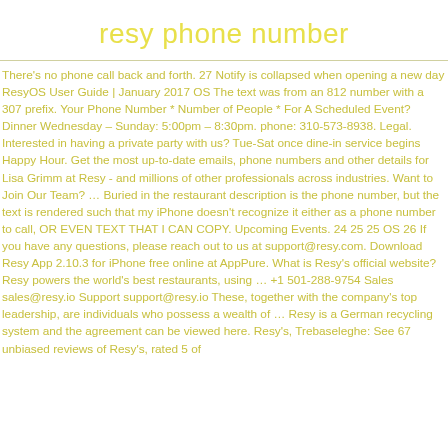resy phone number
There's no phone call back and forth. 27 Notify is collapsed when opening a new day ResyOS User Guide | January 2017 OS The text was from an 812 number with a 307 prefix. Your Phone Number * Number of People * For A Scheduled Event? Dinner Wednesday – Sunday: 5:00pm – 8:30pm. phone: 310-573-8938. Legal. Interested in having a private party with us? Tue-Sat once dine-in service begins Happy Hour. Get the most up-to-date emails, phone numbers and other details for Lisa Grimm at Resy - and millions of other professionals across industries. Want to Join Our Team? ... Buried in the restaurant description is the phone number, but the text is rendered such that my iPhone doesn't recognize it either as a phone number to call, OR EVEN TEXT THAT I CAN COPY. Upcoming Events. 24 25 25 OS 26 If you have any questions, please reach out to us at support@resy.com. Download Resy App 2.10.3 for iPhone free online at AppPure. What is Resy's official website? Resy powers the world's best restaurants, using ... +1 501-288-9754 Sales sales@resy.io Support support@resy.io These, together with the company's top leadership, are individuals who possess a wealth of ... Resy is a German recycling system and the agreement can be viewed here. Resy's, Trebaseleghe: See 67 unbiased reviews of Resy's, rated 5 of